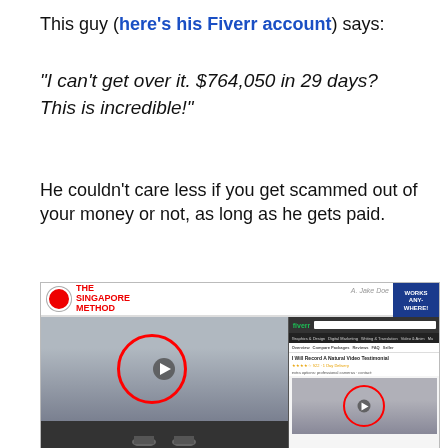This guy (here's his Fiverr account) says:
“I can’t get over it. $764,050 in 29 days? This is incredible!”
He couldn't care less if you get scammed out of your money or not, as long as he gets paid.
[Figure (screenshot): Screenshot of 'The Singapore Method' website showing a video testimonial player on the left with a red circle highlighting a person's face, and a Fiverr gig listing on the right also with a red circle highlighting a person's face.]